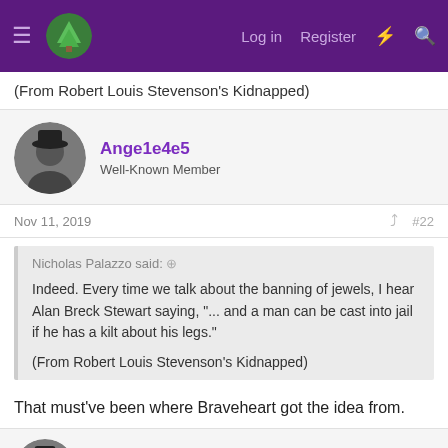Log in  Register
(From Robert Louis Stevenson's Kidnapped)
Ange1e4e5
Well-Known Member
Nov 11, 2019  #22
Nicholas Palazzo said:
Indeed. Every time we talk about the banning of jewels, I hear Alan Breck Stewart saying, "... and a man can be cast into jail if he has a kilt about his legs."
(From Robert Louis Stevenson's Kidnapped)
That must've been where Braveheart got the idea from.
Ange1e4e5